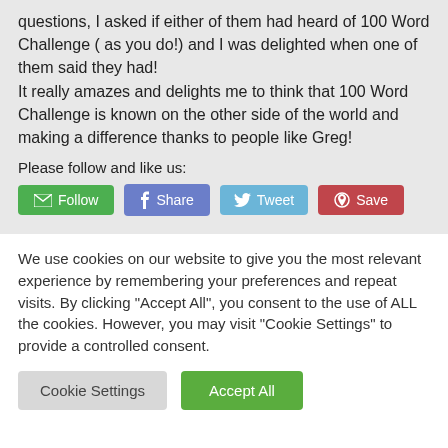questions, I asked if either of them had heard of 100 Word Challenge ( as you do!) and I was delighted when one of them said they had!
It really amazes and delights me to think that 100 Word Challenge is known on the other side of the world and making a difference thanks to people like Greg!
Please follow and like us:
[Figure (infographic): Row of social share buttons: green Follow button with envelope icon, blue Facebook Share button, light blue Twitter Tweet button, red Pinterest Save button]
We use cookies on our website to give you the most relevant experience by remembering your preferences and repeat visits. By clicking "Accept All", you consent to the use of ALL the cookies. However, you may visit "Cookie Settings" to provide a controlled consent.
[Figure (infographic): Two buttons: gray Cookie Settings button and green Accept All button]